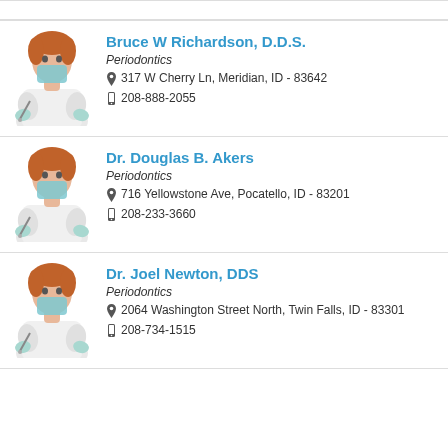Bruce W Richardson, D.D.S. | Periodontics | 317 W Cherry Ln, Meridian, ID - 83642 | 208-888-2055
Dr. Douglas B. Akers | Periodontics | 716 Yellowstone Ave, Pocatello, ID - 83201 | 208-233-3660
Dr. Joel Newton, DDS | Periodontics | 2064 Washington Street North, Twin Falls, ID - 83301 | 208-734-1515